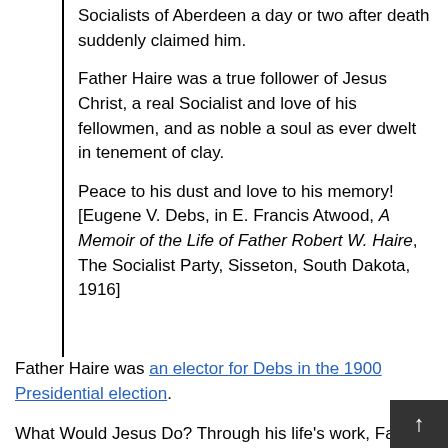Socialists of Aberdeen a day or two after death suddenly claimed him.
Father Haire was a true follower of Jesus Christ, a real Socialist and love of his fellowmen, and as noble a soul as ever dwelt in tenement of clay.
Peace to his dust and love to his memory! [Eugene V. Debs, in E. Francis Atwood, A Memoir of the Life of Father Robert W. Haire, The Socialist Party, Sisseton, South Dakota, 1916]
Father Haire was an elector for Debs in the 1900 Presidential election.
What Would Jesus Do? Through his life’s work, Father Robert Haire answers, “Democracy and socialism.”